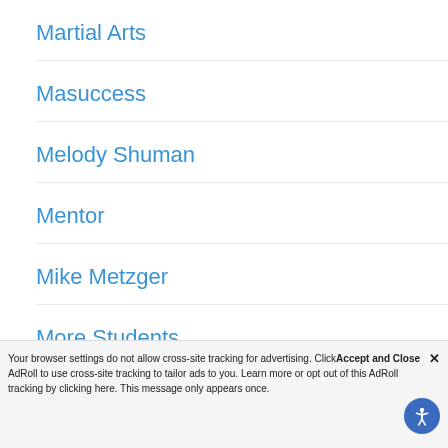Martial Arts
Masuccess
Melody Shuman
Mentor
Mike Metzger
More Students
Motivation
Preskillz
Programs
Your browser settings do not allow cross-site tracking for advertising. Click Accept and Close AdRoll to use cross-site tracking to tailor ads to you. Learn more or opt out of this AdRoll tracking by clicking here. This message only appears once.